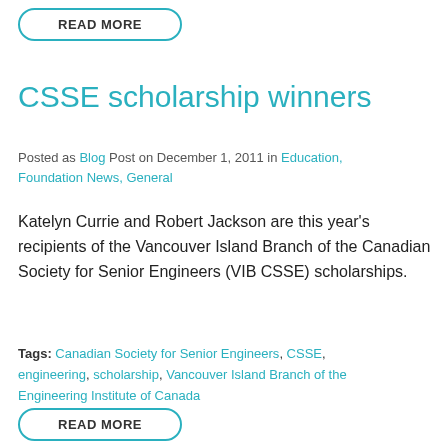READ MORE
CSSE scholarship winners
Posted as Blog Post on December 1, 2011 in Education, Foundation News, General
Katelyn Currie and Robert Jackson are this year's recipients of the Vancouver Island Branch of the Canadian Society for Senior Engineers (VIB CSSE) scholarships.
Tags: Canadian Society for Senior Engineers, CSSE, engineering, scholarship, Vancouver Island Branch of the Engineering Institute of Canada
READ MORE